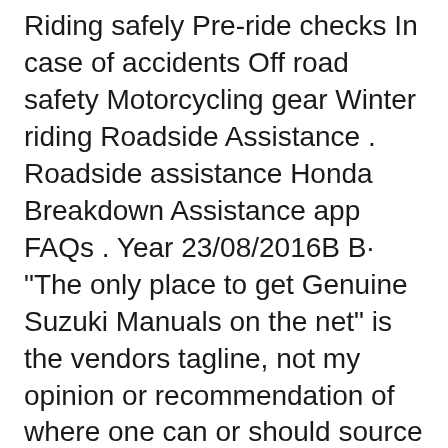Riding safely Pre-ride checks In case of accidents Off road safety Motorcycling gear Winter riding Roadside Assistance . Roadside assistance Honda Breakdown Assistance app FAQs . Year 23/08/2016B B· "The only place to get Genuine Suzuki Manuals on the net" is the vendors tagline, not my opinion or recommendation of where one can or should source a new or replacement TU's Owners & Service Manuals. Presumably they can ordered at the Parts Desk of your local Suzuki Motorcycles dealership. $20 USD is the MSRP of the owners manual and $80 USD is the MSRP of the service manual.
View and Download Honda Rebel 250